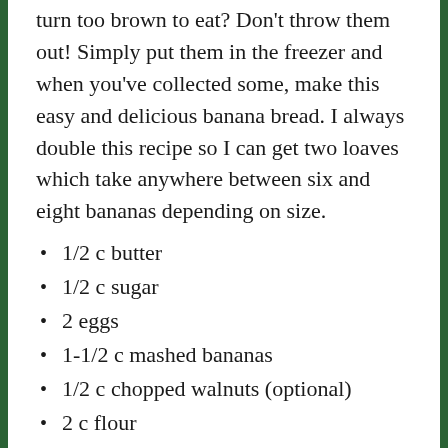turn too brown to eat? Don't throw them out! Simply put them in the freezer and when you've collected some, make this easy and delicious banana bread. I always double this recipe so I can get two loaves which take anywhere between six and eight bananas depending on size.
1/2 c butter
1/2 c sugar
2 eggs
1-1/2 c mashed bananas
1/2 c chopped walnuts (optional)
2 c flour
1/2 tsp baking powder
1/2 tsp baking soda
1/2 tsp salt
In a mixing bowl cream butter (slightly softened),